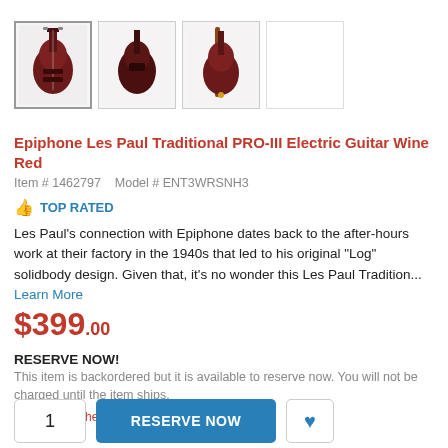[Figure (photo): Product thumbnail images of an Epiphone Les Paul Traditional PRO-III Electric Guitar Wine Red, showing front, back, and side views in small thumbnail boxes]
Epiphone Les Paul Traditional PRO-III Electric Guitar Wine Red
Item # 1462797    Model # ENT3WRSNH3
👍 TOP RATED
Les Paul's connection with Epiphone dates back to the after-hours work at their factory in the 1940s that led to his original "Log" solidbody design. Given that, it's no wonder this Les Paul Tradition... Learn More
$399.00
RESERVE NOW!
This item is backordered but it is available to reserve now. You will not be charged until the item ships.
> email me when in stock
1  RESERVE NOW  ♥